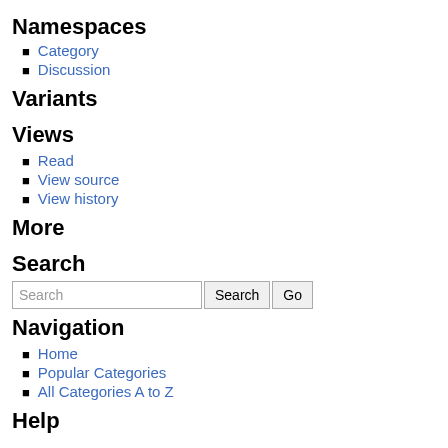Namespaces
Category
Discussion
Variants
Views
Read
View source
View history
More
Search
Navigation
Home
Popular Categories
All Categories A to Z
Help